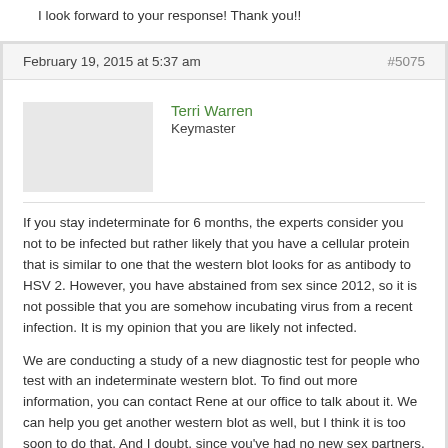I look forward to your response! Thank you!!
February 19, 2015 at 5:37 am
#5075
Terri Warren
Keymaster
If you stay indeterminate for 6 months, the experts consider you not to be infected but rather likely that you have a cellular protein that is similar to one that the western blot looks for as antibody to HSV 2. However, you have abstained from sex since 2012, so it is not possible that you are somehow incubating virus from a recent infection. It is my opinion that you are likely not infected.
We are conducting a study of a new diagnostic test for people who test with an indeterminate western blot. To find out more information, you can contact Rene at our office to talk about it. We can help you get another western blot as well, but I think it is too soon to do that. And I doubt, since you've had no new sex partners,